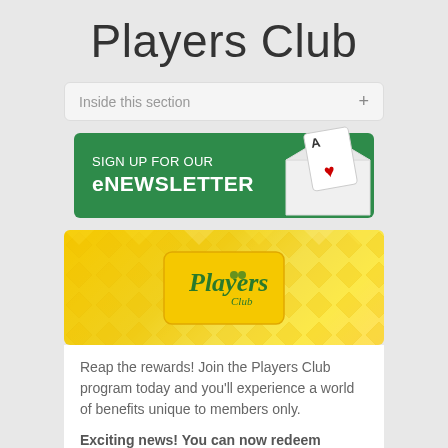Players Club
Inside this section +
[Figure (illustration): Green banner with 'SIGN UP FOR OUR eNEWSTLETTER' text and a playing card inside an envelope on the right]
[Figure (illustration): Yellow geometric diamond-pattern background with a yellow Players Club card in the center]
Reap the rewards! Join the Players Club program today and you'll experience a world of benefits unique to members only.
Exciting news! You can now redeem